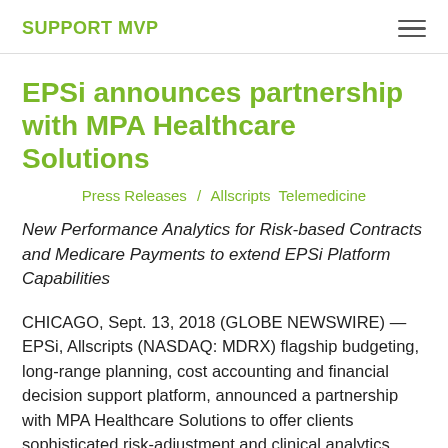SUPPORT MVP
EPSi announces partnership with MPA Healthcare Solutions
Press Releases / Allscripts Telemedicine
New Performance Analytics for Risk-based Contracts and Medicare Payments to extend EPSi Platform Capabilities
CHICAGO, Sept. 13, 2018 (GLOBE NEWSWIRE) — EPSi, Allscripts (NASDAQ: MDRX) flagship budgeting, long-range planning, cost accounting and financial decision support platform, announced a partnership with MPA Healthcare Solutions to offer clients sophisticated risk-adjustment and clinical analytics